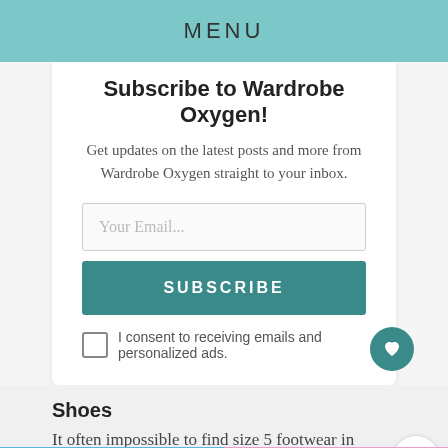MENU
Subscribe to Wardrobe Oxygen!
Get updates on the latest posts and more from Wardrobe Oxygen straight to your inbox.
Your Email...
SUBSCRIBE
I consent to receiving emails and personalized ads.
Shoes
It often impossible to find size 5 footwear in st...
[Figure (other): Promotional ad banner with pink and blue transgender flag colors reading 'We stand with you.' with a close button and small logo]